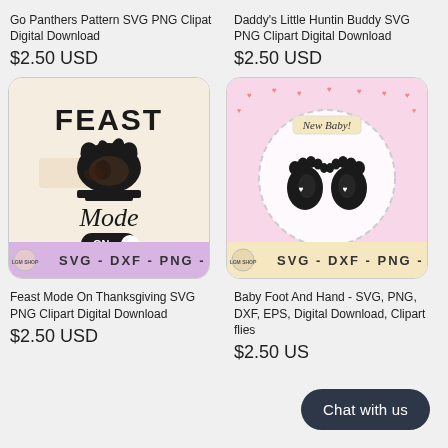Go Panthers Pattern SVG PNG Clipat Digital Download
$2.50 USD
Daddy's Little Huntin Buddy SVG PNG Clipart Digital Download
$2.50 USD
[Figure (illustration): Feast Mode On Thanksgiving SVG clipart showing a turkey with text 'FEAST Mode ON' and a toggle switch, purple bar at bottom with SVG-DXF-PNG-EP text]
[Figure (illustration): Baby Foot And Hand SVG clipart showing baby footprints inside a cloud circle with 'New Baby!' tag, pink hearts background, beige bar at bottom with SVG-DXF-PNG-EPS text]
Feast Mode On Thanksgiving SVG PNG Clipart Digital Download
$2.50 USD
Baby Foot And Hand - SVG, PNG, DXF, EPS, Digital Download, Clipart flies
$2.50 US
Chat with us